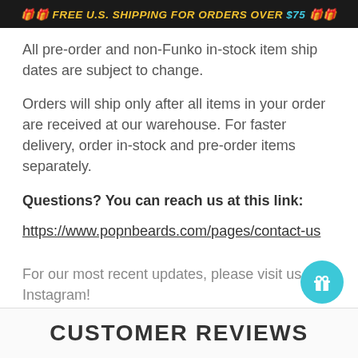🎁🎁 FREE U.S. SHIPPING FOR ORDERS OVER $75 🎁🎁
All pre-order and non-Funko in-stock item ship dates are subject to change.
Orders will ship only after all items in your order are received at our warehouse. For faster delivery, order in-stock and pre-order items separately.
Questions? You can reach us at this link:
https://www.popnbeards.com/pages/contact-us
For our most recent updates, please visit us on Instagram!
https://www.instagram.com/popnbeards/
CUSTOMER REVIEWS